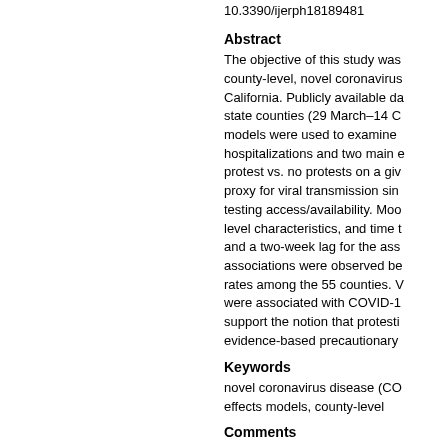10.3390/ijerph18189481
Abstract
The objective of this study was county-level, novel coronavirus California. Publicly available da state counties (29 March–14 C models were used to examine hospitalizations and two main e protest vs. no protests on a gi proxy for viral transmission sin testing access/availability. Moc level characteristics, and time and a two-week lag for the ass associations were observed be rates among the 55 counties. were associated with COVID-1 support the notion that presti evidence-based precautionary
Keywords
novel coronavirus disease (CO effects models, county-level
Comments
This is the Version of Record
Creative Commons License